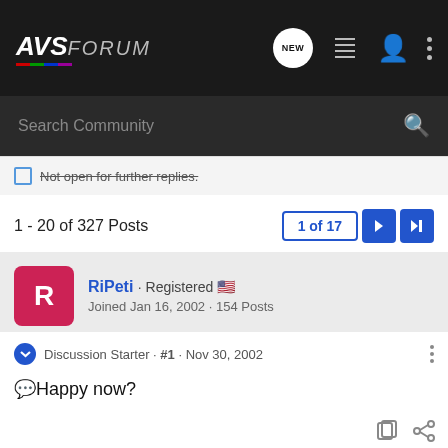AVSForum — navigation bar with search
Not open for further replies.
1 - 20 of 327 Posts   1 of 17
RiPeti · Registered
Joined Jan 16, 2002 · 154 Posts
Discussion Starter · #1 · Nov 30, 2002
🗨Happy now?